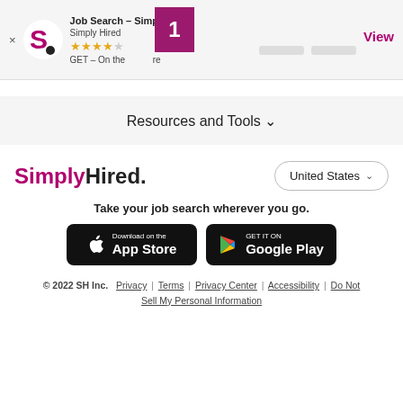[Figure (screenshot): SimplyHired app install banner with logo, app title, stars rating, GET button, badge with number 1, and View link]
Resources and Tools ▾
[Figure (logo): SimplyHired logo with pink Simply and dark Hired text]
United States ▾
Take your job search wherever you go.
[Figure (other): Download on the App Store button]
[Figure (other): GET IT ON Google Play button]
© 2022 SH Inc.  Privacy | Terms | Privacy Center | Accessibility | Do Not Sell My Personal Information